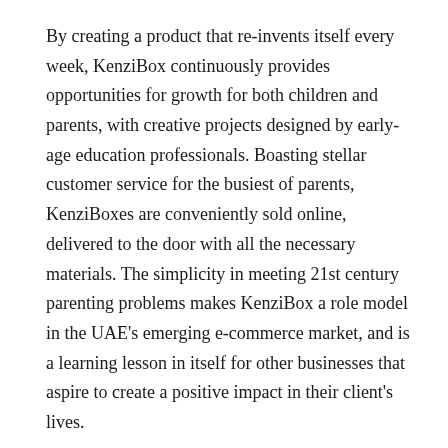By creating a product that re-invents itself every week, KenziBox continuously provides opportunities for growth for both children and parents, with creative projects designed by early-age education professionals. Boasting stellar customer service for the busiest of parents, KenziBoxes are conveniently sold online, delivered to the door with all the necessary materials. The simplicity in meeting 21st century parenting problems makes KenziBox a role model in the UAE's emerging e-commerce market, and is a learning lesson in itself for other businesses that aspire to create a positive impact in their client's lives.
Their superb business model has won them several recognitions in their first year alone- Dubai Women's Business Council awarded them First Place as well as the People's Choice award, and KenziBox was a finalist for